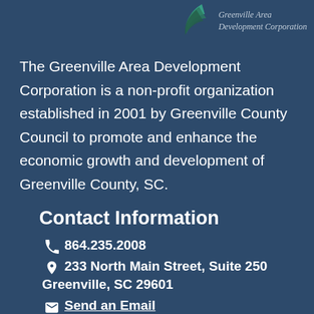[Figure (logo): Greenville Area Development Corporation logo with stylized leaf/swoosh graphic in green and teal]
The Greenville Area Development Corporation is a non-profit organization established in 2001 by Greenville County Council to promote and enhance the economic growth and development of Greenville County, SC.
Contact Information
864.235.2008
233 North Main Street, Suite 250 Greenville, SC 29601
Send an Email
Skype: GoGADC
Direction & Parking Information